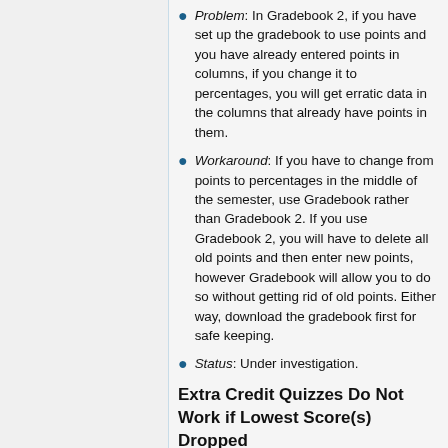Problem: In Gradebook 2, if you have set up the gradebook to use points and you have already entered points in columns, if you change it to percentages, you will get erratic data in the columns that already have points in them.
Workaround: If you have to change from points to percentages in the middle of the semester, use Gradebook rather than Gradebook 2. If you use Gradebook 2, you will have to delete all old points and then enter new points, however Gradebook will allow you to do so without getting rid of old points. Either way, download the gradebook first for safe keeping.
Status: Under investigation.
Extra Credit Quizzes Do Not Work if Lowest Score(s) Dropped
Problem: It is possible to assign online quizzes to be extra credit, but if you also